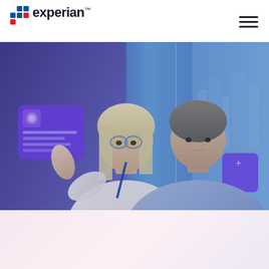Experian
[Figure (photo): Two business professionals, a blonde woman wearing glasses and a blue lanyard and a man in a light blue shirt, looking at a digital touchscreen display with purple UI overlays and a futuristic city background, bathed in blue-purple light in an office setting.]